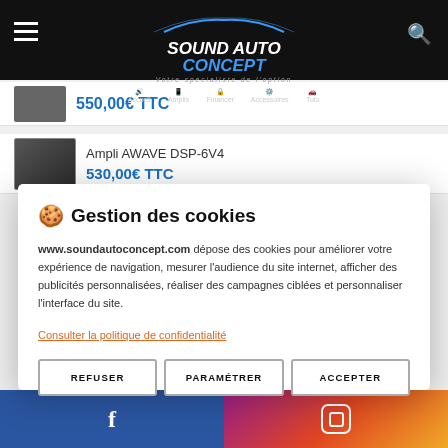Sound Auto Concept — navigation header with logo, hamburger menu, search icon, and nav icons
550,00€ TTC
Ampli AWAVE DSP-6V4 — 530,00€ TTC
🍪 Gestion des cookies
www.soundautoconcept.com dépose des cookies pour améliorer votre expérience de navigation, mesurer l'audience du site internet, afficher des publicités personnalisées, réaliser des campagnes ciblées et personnaliser l'interface du site.
Consulter la politique de confidentialité
REFUSER
PARAMÉTRER
ACCEPTER